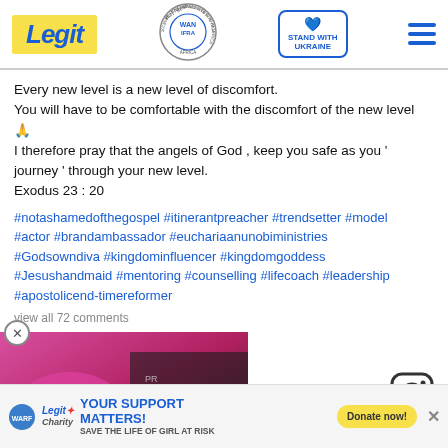Legit — WAN IFRA 2021 Best News Website in Africa — Stand with Ukraine
Every new level is a new level of discomfort.
You will have to be comfortable with the discomfort of the new level 🙏
I therefore pray that the angels of God , keep you safe as you ' journey ' through your new level.
Exodus 23 : 20
#notashamedofthegospel #itinerantpreacher #trendsetter #model #actor #brandambassador #euchariaanunobiministries #Godsowndiva #kingdominfluencer #kingdomgoddess #Jesushandmaid #mentoring #counselling #lifecoach #leadership #apostolicend-timereformer
view all 72 comments
[Figure (screenshot): Video player showing two people at a premiere with overlay text 'IT WAS PERFECT']
[Figure (logo): Instagram icon]
[Figure (infographic): Ad bar: WARF / Legit Charity logo with text 'YOUR SUPPORT MATTERS! SAVE THE LIFE OF GIRL AT RISK' and yellow Donate now! button]